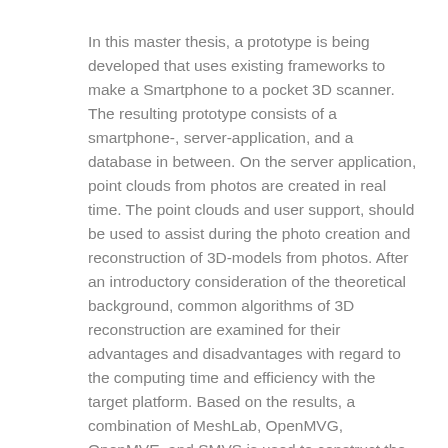In this master thesis, a prototype is being developed that uses existing frameworks to make a Smartphone to a pocket 3D scanner. The resulting prototype consists of a smartphone-, server-application, and a database in between. On the server application, point clouds from photos are created in real time. The point clouds and user support, should be used to assist during the photo creation and reconstruction of 3D-models from photos. After an introductory consideration of the theoretical background, common algorithms of 3D reconstruction are examined for their advantages and disadvantages with regard to the computing time and efficiency with the target platform. Based on the results, a combination of MeshLab, OpenMVG, OpenMVE, and SMVS is used to construct the 3D models. On the basis of fault tolerance with unsorted images, AKAZE and DAISY have been selected, which is why they are being